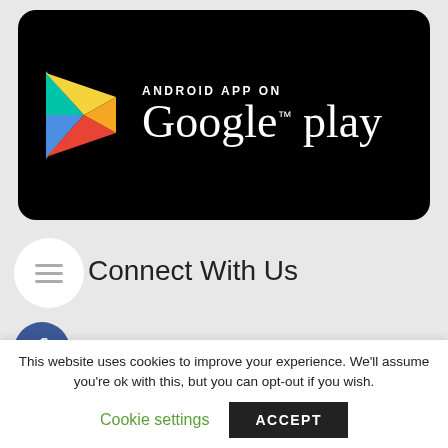[Figure (logo): Google Play Store badge on black rounded rectangle background with Play Store triangle icon and text 'ANDROID APP ON Google play']
Connect With Us
[Figure (infographic): Social media icons stacked vertically: Facebook (blue circle with f), Twitter (blue rounded square with bird), Instagram (circle outline with camera), YouTube (red circle, partially visible)]
This website uses cookies to improve your experience. We'll assume you're ok with this, but you can opt-out if you wish.
Cookie settings
ACCEPT